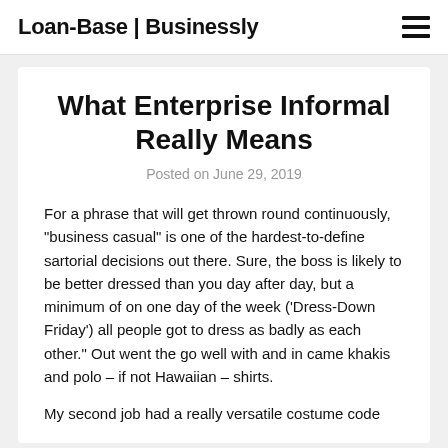Loan-Base | Businessly
What Enterprise Informal Really Means
Posted on June 29, 2019
For a phrase that will get thrown round continuously, "business casual" is one of the hardest-to-define sartorial decisions out there. Sure, the boss is likely to be better dressed than you day after day, but a minimum of on one day of the week ('Dress-Down Friday') all people got to dress as badly as each other." Out went the go well with and in came khakis and polo – if not Hawaiian – shirts.
My second job had a really versatile costume code